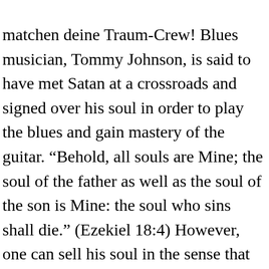matchen deine Traum-Crew! Blues musician, Tommy Johnson, is said to have met Satan at a crossroads and signed over his soul in order to play the blues and gain mastery of the guitar. “Behold, all souls are Mine; the soul of the father as well as the soul of the son is Mine: the soul who sins shall die.” (Ezekiel 18:4) However, one can sell his soul in the sense that we have the freedom to willfully submit our souls to Satan’s service, which ultimately leads to suffering an even greater consequence – … It’s about what I’m saying. Or,